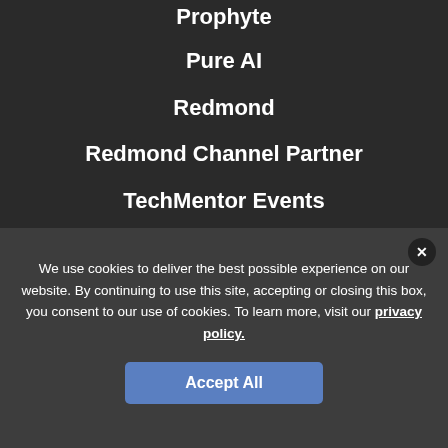Prophyte
Pure AI
Redmond
Redmond Channel Partner
TechMentor Events
Visual Studio Magazine
Visual Studio Live!
We use cookies to deliver the best possible experience on our website. By continuing to use this site, accepting or closing this box, you consent to our use of cookies. To learn more, visit our privacy policy.
Accept All